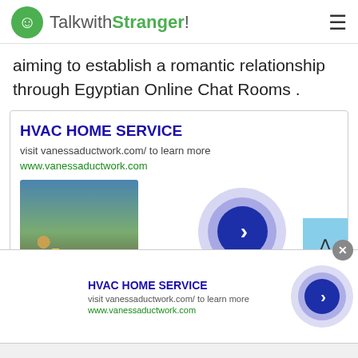TalkwithStranger!
aiming to establish a romantic relationship through Egyptian Online Chat Rooms .
[Figure (screenshot): Advertisement box for HVAC HOME SERVICE with title, description, URL, a garden image, and a circular blue arrow button]
[Figure (screenshot): Sticky bottom advertisement for HVAC HOME SERVICE with garden thumbnail, text, and circular blue arrow button with close X button]